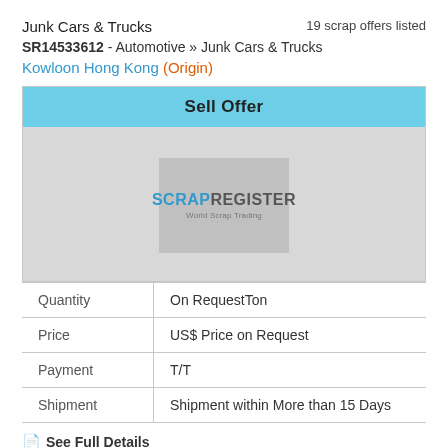19 scrap offers listed
Junk Cars & Trucks
SR14533612 - Automotive » Junk Cars & Trucks
Kowloon Hong Kong (Origin)
Sell Offer
[Figure (logo): ScrapRegister logo placeholder on grey background]
| Quantity | On RequestTon |
| Price | US$ Price on Request |
| Payment | T/T |
| Shipment | Shipment within More than 15 Days |
See Full Details